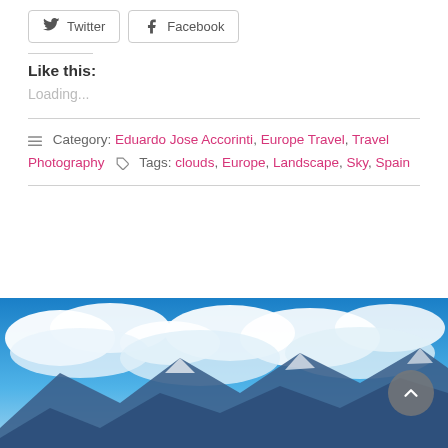[Figure (other): Social share buttons: Twitter and Facebook with border outlines]
Like this:
Loading...
Category: Eduardo Jose Accorinti, Europe Travel, Travel Photography  Tags: clouds, Europe, Landscape, Sky, Spain
[Figure (photo): Photograph of snow-capped mountains with dramatic blue sky and white clouds, with a scroll-to-top button overlaid in the bottom right corner]